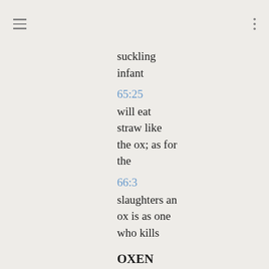≡  ⋮
suckling infant
65:25
will eat straw like the ox; as for the
66:3
slaughters an ox is as one who kills
OXEN
30:24
oxen and asses that till the soil eat
32:20